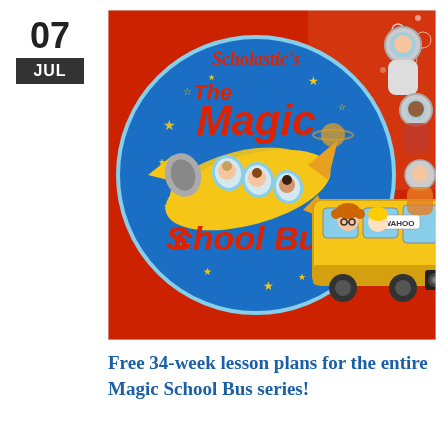07
JUL
[Figure (illustration): Cover art for Scholastic's The Magic School Bus series. A colorful illustration on a red background showing a yellow school bus transformed into a rocket/plane with children looking out the windows. A circular logo in blue reads 'Scholastic's The Magic School Bus' in red lettering with stars. A yellow school bus labeled 'WAHOO' is in the foreground with cartoon children characters including a curly-haired girl with glasses at the wheel.]
Free 34-week lesson plans for the entire Magic School Bus series!